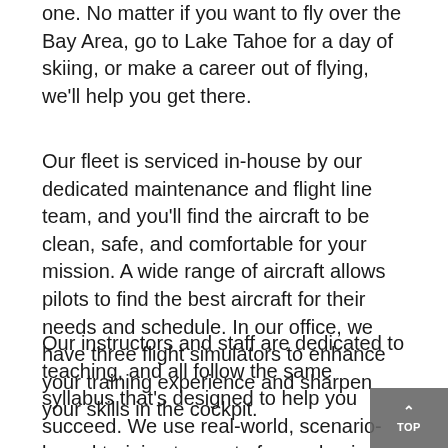one. No matter if you want to fly over the Bay Area, go to Lake Tahoe for a day of skiing, or make a career out of flying, we'll help you get there.
Our fleet is serviced in-house by our dedicated maintenance and flight line team, and you'll find the aircraft to be clean, safe, and comfortable for your mission. A wide range of aircraft allows pilots to find the best aircraft for their needs and schedule. In our office, we have three flight simulators to enhance your training experience and sharpen your skills in the cockpit.
Our instructors and staff are dedicated to teaching, and all follow the same syllabus that's designed to help you succeed. We use real-world, scenario-based training to create fun and unique lessons that will help you retain knowledge and become a better pilot. Our Ground Schools contain lectures taught by our Chief Pilot team, as well as bonus workshops to take your knowledge beyond the